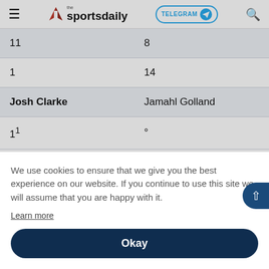the sportsdaily — TELEGRAM — search
| 11 | 8 |
| 1 | 14 |
| Josh Clarke | Jamahl Golland |
| 1¹ | ° |
| 1 |  |
| J |  |
We use cookies to ensure that we give you the best experience on our website. If you continue to use this site we will assume that you are happy with it.
Learn more
Okay